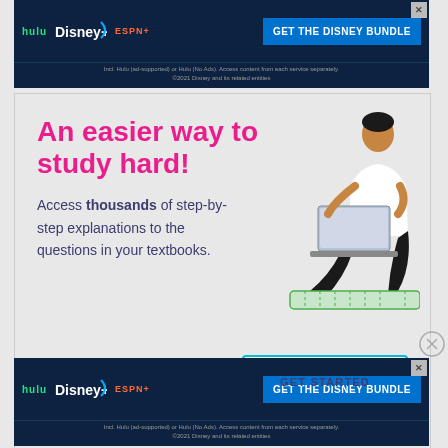[Figure (screenshot): Disney Bundle advertisement banner with Hulu, Disney+, ESPN+ logos and GET THE DISNEY BUNDLE button on dark navy background with fine print text]
[Figure (screenshot): Study help advertisement with pink/magenta heading 'An easier way to study hard!', body text about step-by-step explanations, GET STARTED button, and illustration of person using laptop]
[Figure (screenshot): Second Disney Bundle advertisement banner at bottom of page, same as top banner]